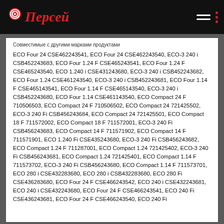Персей
ECO Four 24 CSE462243541, ECO Four 24 CSE462243540, ECO-3 240 i CSB452243683, ECO Four 1.24 F CSE465243541, ECO Four 1.24 F CSE465243540, ECO 1.240 i CSE431243680, ECO-3 240 i CSB452243682, ECO Four 1.24 CSE461243540, ECO-3 240 i CSB452243681, ECO Four 1.14 F CSE465143541, ECO Four 1.14 F CSE465143540, ECO-3 240 i CSB452243680, ECO Four 1.14 CSE461143540, ECO Compact 24 F 710506503, ECO Compact 24 F 710506502, ECO Compact 24 721425502, ECO-3 240 Fi CSB456243684, ECO Compact 24 721425501, ECO Compact 18 F 711572002, ECO Compact 18 F 711572001, ECO-3 240 Fi CSB456243683, ECO Compact 14 F 711571902, ECO Compact 14 F 711571901, ECO 1.240 Fi CSE435243680, ECO-3 240 Fi CSB456243682, ECO Compact 1.24 F 711287001, ECO Compact 1.24 721425402, ECO-3 240 Fi CSB456243681, ECO Compact 1.24 721425401, ECO Compact 1.14 F 711573702, ECO-3 240 Fi CSB456243680, ECO Compact 1.14 F 711573701, ECO 280 i CSE432283680, ECO 280 i CSB432283680, ECO 280 Fi CSE436283680, ECO Four 24 F CSE466243542, ECO 240 i CSE432243681, ECO 240 i CSE432243680, ECO Four 24 F CSE466243541, ECO 240 Fi CSE436243681, ECO Four 24 F CSE466243540, ECO 240 Fi